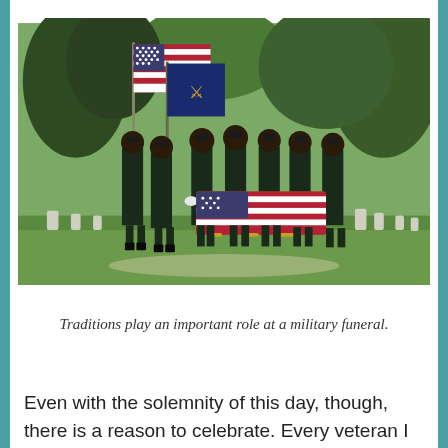[Figure (photo): Military honor guard in dress uniforms carrying a flag-draped casket through a cemetery. Several soldiers carry American and military flags. Green trees and white grave markers are visible in the background.]
Traditions play an important role at a military funeral.
Even with the solemnity of this day, though, there is a reason to celebrate. Every veteran I know will tell you the reason for raising your